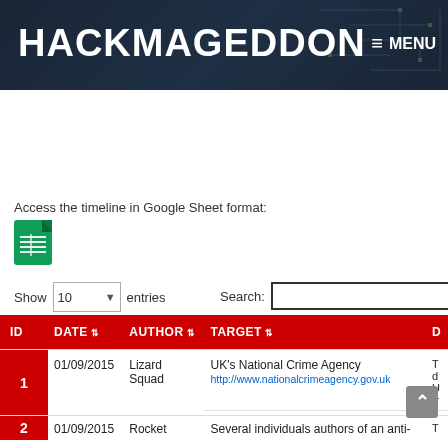HACKMAGEDDON  ≡ MENU
Access the timeline in Google Sheet format:
[Figure (logo): Google Sheets icon - green spreadsheet logo]
| ID | DATE | AUTHOR | TARGET | D |
| --- | --- | --- | --- | --- |
| 1 | 01/09/2015 | Lizard Squad | UK's National Crime Agency http://www.nationalcrimeagency.gov.uk | T d U (r |
| 2 | 01/09/2015 | Rocket | Several individuals authors of an anti- | T |